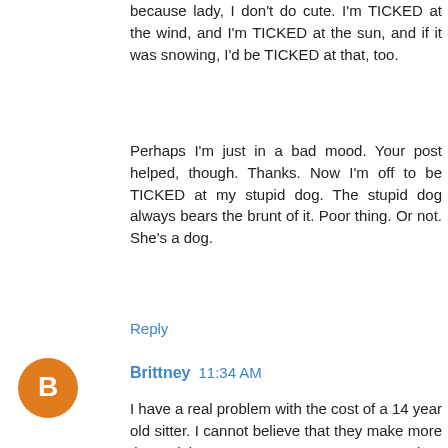because lady, I don't do cute. I'm TICKED at the wind, and I'm TICKED at the sun, and if it was snowing, I'd be TICKED at that, too.
Perhaps I'm just in a bad mood. Your post helped, though. Thanks. Now I'm off to be TICKED at my stupid dog. The stupid dog always bears the brunt of it. Poor thing. Or not. She's a dog.
Reply
Brittney  11:34 AM
I have a real problem with the cost of a 14 year old sitter. I cannot believe that they make more than minimum wage. It was even worse when we lived in Wisconsin. It was five bucks a kid an hour. You got three kids that is 15 bucks an hour. My kids are always alseep when they get here. It infuriates me. But what makes me the maddest, the girls charge when I go to the temple. So much for service. I have to travel an hour each way to the temple. With they outrages rates and the travel time alone, I have to save for weeks to do any temple work.